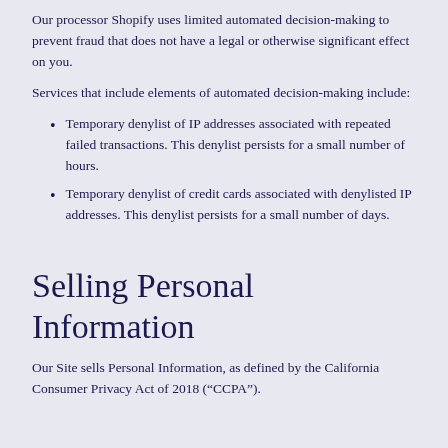Our processor Shopify uses limited automated decision-making to prevent fraud that does not have a legal or otherwise significant effect on you.
Services that include elements of automated decision-making include:
Temporary denylist of IP addresses associated with repeated failed transactions. This denylist persists for a small number of hours.
Temporary denylist of credit cards associated with denylisted IP addresses. This denylist persists for a small number of days.
Selling Personal Information
Our Site sells Personal Information, as defined by the California Consumer Privacy Act of 2018 (“CCPA”).